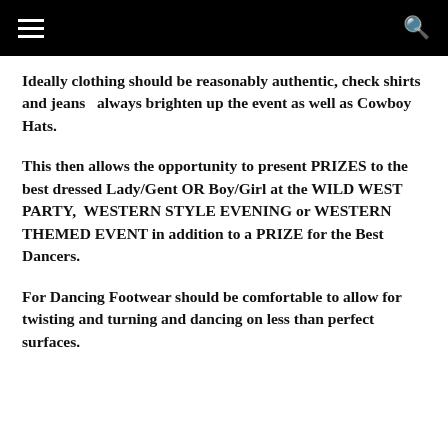☰  🔍
Ideally clothing should be reasonably authentic, check shirts and jeans  always brighten up the event as well as Cowboy Hats.
This then allows the opportunity to present PRIZES to the best dressed Lady/Gent OR Boy/Girl at the WILD WEST PARTY,  WESTERN STYLE EVENING or WESTERN THEMED EVENT in addition to a PRIZE for the Best Dancers.
For Dancing Footwear should be comfortable to allow for twisting and turning and dancing on less than perfect surfaces.